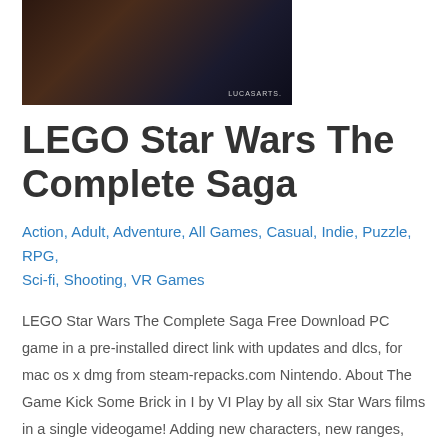[Figure (photo): Game cover image for LEGO Star Wars The Complete Saga, dark background with LucasArts logo]
LEGO Star Wars The Complete Saga
Action, Adult, Adventure, All Games, Casual, Indie, Puzzle, RPG, Sci-fi, Shooting, VR Games
LEGO Star Wars The Complete Saga Free Download PC game in a pre-installed direct link with updates and dlcs, for mac os x dmg from steam-repacks.com Nintendo. About The Game Kick Some Brick in I by VI Play by all six Star Wars films in a single videogame! Adding new characters, new ranges, new features …
Read More »
[Figure (photo): Second game image with dark blue background]